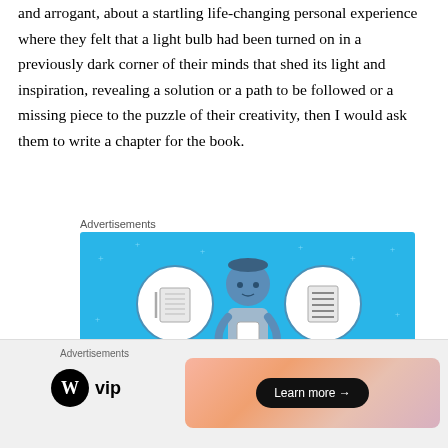and arrogant, about a startling life-changing personal experience where they felt that a light bulb had been turned on in a previously dark corner of their minds that shed its light and inspiration, revealing a solution or a path to be followed or a missing piece to the puzzle of their creativity, then I would ask them to write a chapter for the book.
Advertisements
[Figure (illustration): Advertisement illustration with light blue background showing a person holding a phone, flanked by two circular icons — a notebook on the left and a list/document on the right. Text 'DAY ONE' appears at the bottom in spaced bold letters.]
Advertisements
[Figure (illustration): Bottom advertisement bar showing WordPress VIP logo on the left (circle W logo + 'vip' text) and a gradient peach/pink banner on the right with a 'Learn more →' button in black pill shape.]